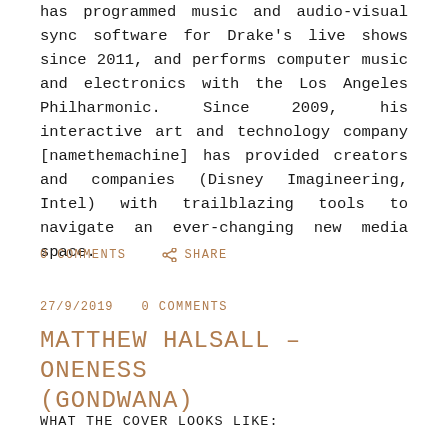has programmed music and audio-visual sync software for Drake's live shows since 2011, and performs computer music and electronics with the Los Angeles Philharmonic. Since 2009, his interactive art and technology company [namethemachine] has provided creators and companies (Disney Imagineering, Intel) with trailblazing tools to navigate an ever-changing new media space.
0 COMMENTS   SHARE
27/9/2019   0 COMMENTS
MATTHEW HALSALL – ONENESS (GONDWANA)
WHAT THE COVER LOOKS LIKE: